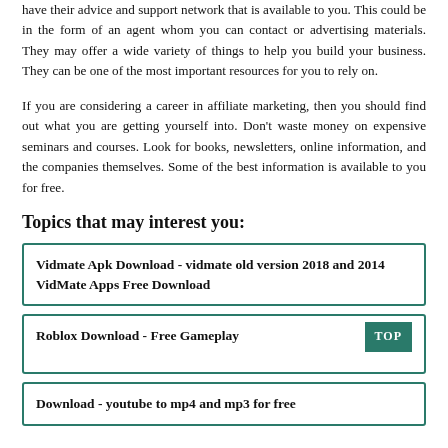have their advice and support network that is available to you. This could be in the form of an agent whom you can contact or advertising materials. They may offer a wide variety of things to help you build your business. They can be one of the most important resources for you to rely on.
If you are considering a career in affiliate marketing, then you should find out what you are getting yourself into. Don't waste money on expensive seminars and courses. Look for books, newsletters, online information, and the companies themselves. Some of the best information is available to you for free.
Topics that may interest you:
Vidmate Apk Download - vidmate old version 2018 and 2014 VidMate Apps Free Download
Roblox Download - Free Gameplay
Download - youtube to mp4 and mp3 for free